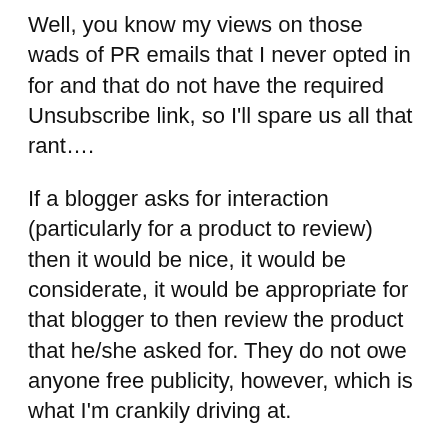Well, you know my views on those wads of PR emails that I never opted in for and that do not have the required Unsubscribe link, so I'll spare us all that rant….
If a blogger asks for interaction (particularly for a product to review) then it would be nice, it would be considerate, it would be appropriate for that blogger to then review the product that he/she asked for. They do not owe anyone free publicity, however, which is what I'm crankily driving at.
PR outreach is an effort to drum up publicity. I have no problem with that, and if I as a blogger want to help that effort to drum up publicity because I like the product/service/destination, then everyone's